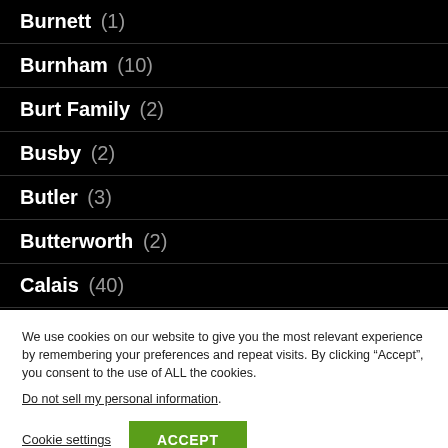Burnett (1)
Burnham (10)
Burt Family (2)
Busby (2)
Butler (3)
Butterworth (2)
Calais (40)
We use cookies on our website to give you the most relevant experience by remembering your preferences and repeat visits. By clicking “Accept”, you consent to the use of ALL the cookies.
Do not sell my personal information.
Cookie settings  ACCEPT